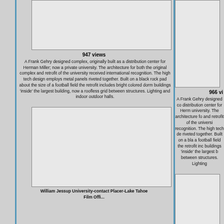[Figure (photo): Top-left image placeholder - Frank Gehry building photo]
947 views
A Frank Gehry designed complex, originally built as a distribution center for Herman Miller; now a private university. The architecture for both the original complex and retrofit of the university received international recognition. The high tech design employs metal panels riveted together. Built on a black rock pad about the size of a football field the retrofit includes bright colored dorm buildings 'inside' the largest building, now a roofless grid between structures. Lighting and indoor outdoor halls.
[Figure (photo): Top-right image placeholder - Frank Gehry building photo]
966 vi...
A Frank Gehry designed co... distribution center for Herm... university. The architecture fo... and retrofit of the universi... recognition. The high tech de... riveted together. Built on a bla... a football field the retrofit inc... buildings 'inside' the largest b... between structures. Lighting...
[Figure (photo): Bottom-left image placeholder - William Jessup University photo]
William Jessup University-contact Placer-Lake Tahoe Film Offi...
[Figure (photo): Bottom-right image placeholder]